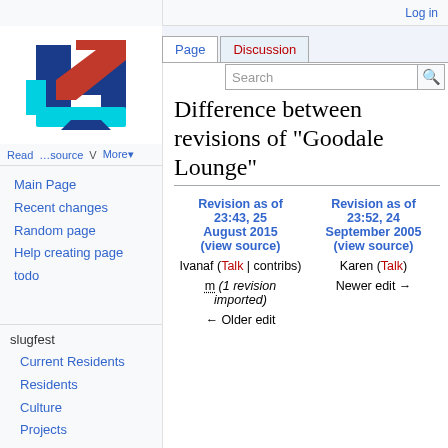Log in
[Figure (logo): 4chan-style wiki logo with blue and red 4 graphic]
Main Page
Recent changes
Random page
Help creating page
todo
slugfest
Current Residents
Residents
Culture
Projects
Hall Feeds
Places
Back in the day
Difference between revisions of "Goodale Lounge"
| Revision as of 23:43, 25 August 2015 (view source) | Revision as of 23:52, 24 September 2005 (view source) |
| --- | --- |
| Ivanaf (Talk | contribs) | Karen (Talk) |
| m (1 revision imported) | Newer edit → |
| ← Older edit |  |